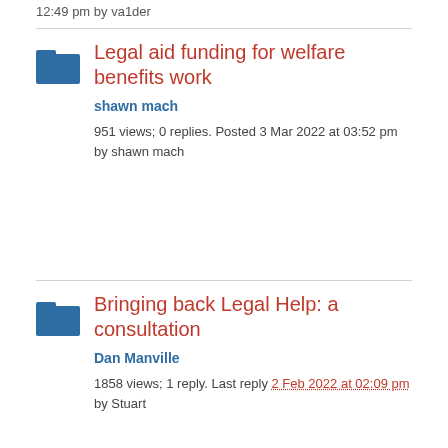12:49 pm by va1der
Legal aid funding for welfare benefits work
shawn mach
951 views; 0 replies. Posted 3 Mar 2022 at 03:52 pm by shawn mach
Bringing back Legal Help: a consultation
Dan Manville
1858 views; 1 reply. Last reply 2 Feb 2022 at 02:09 pm by Stuart